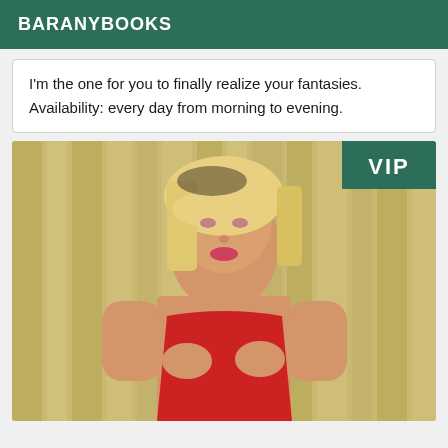BARANYBOOKS
I'm the one for you to finally realize your fantasies. Availability: every day from morning to evening.
[Figure (photo): Woman with blonde hair wearing red outfit, standing in front of golden/yellow curtain background. VIP badge in top right corner.]